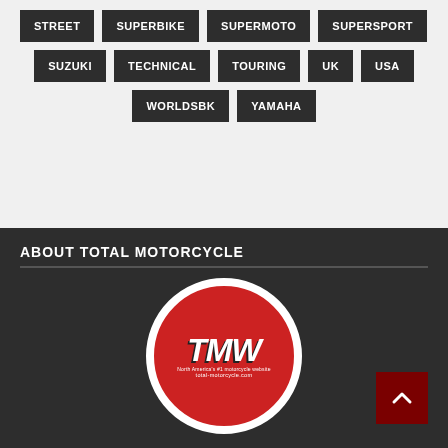STREET
SUPERBIKE
SUPERMOTO
SUPERSPORT
SUZUKI
TECHNICAL
TOURING
UK
USA
WORLDSBK
YAMAHA
ABOUT TOTAL MOTORCYCLE
[Figure (logo): Total Motorcycle logo — circular red badge with white border, TMW italic text and totalmotorcycle.com URL]